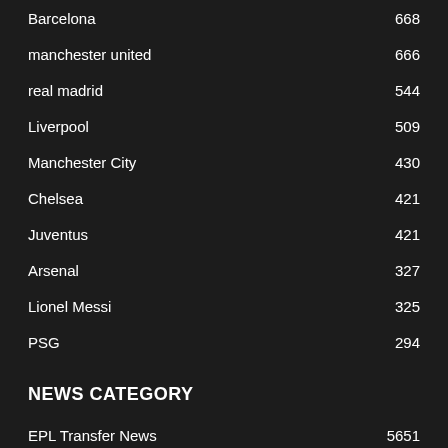Barcelona  668
manchester united  666
real madrid  544
Liverpool  509
Manchester City  430
Chelsea  421
Juventus  421
Arsenal  327
Lionel Messi  325
PSG  294
NEWS CATEGORY
EPL Transfer News  5651
EPL English Premier League  293
Spain La Liga  184